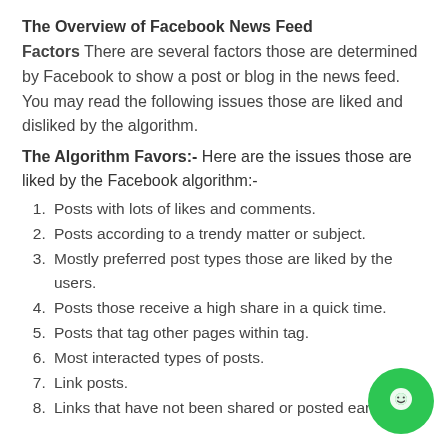The Overview of Facebook News Feed Factors
Factors There are several factors those are determined by Facebook to show a post or blog in the news feed. You may read the following issues those are liked and disliked by the algorithm.
The Algorithm Favors:- Here are the issues those are liked by the Facebook algorithm:-
Posts with lots of likes and comments.
Posts according to a trendy matter or subject.
Mostly preferred post types those are liked by the users.
Posts those receive a high share in a quick time.
Posts that tag other pages within tag.
Most interacted types of posts.
Link posts.
Links that have not been shared or posted earlier.
Images and videos that have not appeared earlier in the open graph.